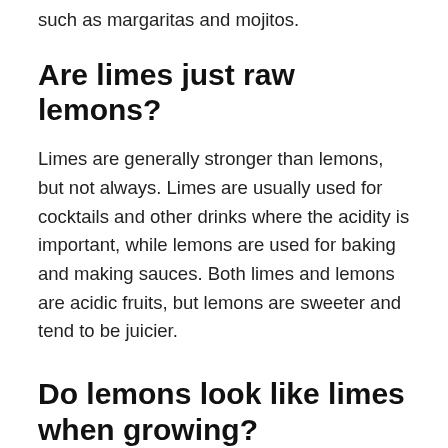such as margaritas and mojitos.
Are limes just raw lemons?
Limes are generally stronger than lemons, but not always. Limes are usually used for cocktails and other drinks where the acidity is important, while lemons are used for baking and making sauces. Both limes and lemons are acidic fruits, but lemons are sweeter and tend to be juicier.
Do lemons look like limes when growing?
Lemons and limes are very similar fruits. Both are